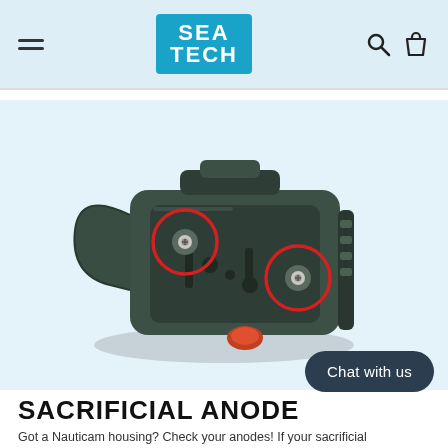SEA TECH
[Figure (photo): Underwater camera housing (Nauticam brand) shown from bottom angle, with two circular red-outlined highlights marking the positions of sacrificial anode screws on the dark green/grey housing body.]
SACRIFICIAL ANODE
Got a Nauticam housing? Check your anodes! If your sacrificial
Chat with us